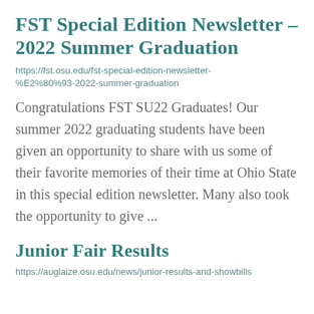FST Special Edition Newsletter – 2022 Summer Graduation
https://fst.osu.edu/fst-special-edition-newsletter-%E2%80%93-2022-summer-graduation
Congratulations FST SU22 Graduates! Our summer 2022 graduating students have been given an opportunity to share with us some of their favorite memories of their time at Ohio State in this special edition newsletter. Many also took the opportunity to give ...
Junior Fair Results
https://auglaize.osu.edu/news/junior-results-and-showbills